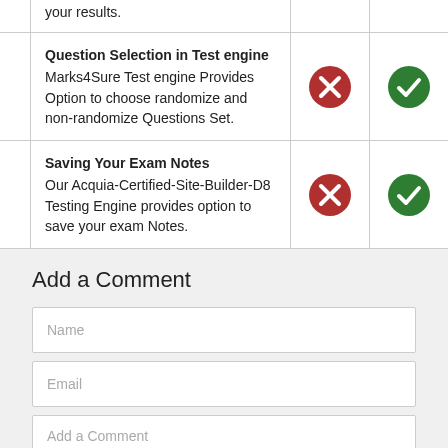your results.
| Feature | X | Check |
| --- | --- | --- |
| Question Selection in Test engine
Marks4Sure Test engine Provides Option to choose randomize and non-randomize Questions Set. | ✗ | ✓ |
| Saving Your Exam Notes
Our Acquia-Certified-Site-Builder-D8 Testing Engine provides option to save your exam Notes. | ✗ | ✓ |
Add a Comment
Name
Email
Add a Comment